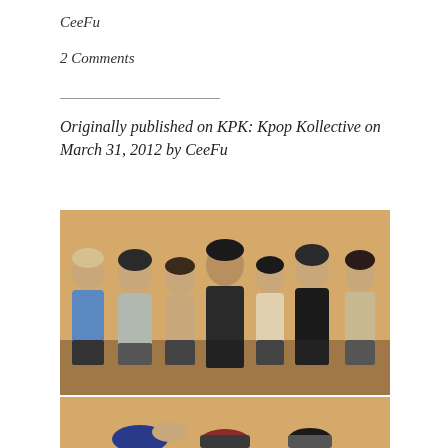CeeFu
2 Comments
Originally published on KPK: Kpop Kollective on March 31, 2012 by CeeFu
[Figure (photo): Group photo of seven young men standing against a beige/orange wall, wearing casual clothing]
[Figure (photo): Partial view of a second photo showing people bowing or bent forward against a similar beige background]